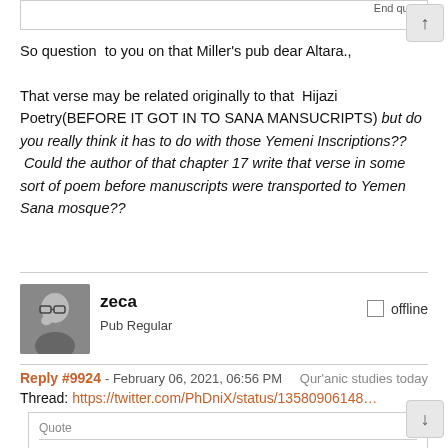End quote
So question  to you on that Miller's pub dear Altara.,

That verse may be related originally to that  Hijazi Poetry(BEFORE IT GOT IN TO SANA MANSUCRIPTS) but do you really think it has to do with those Yemeni Inscriptions??  Could the author of that chapter 17 write that verse in some sort of poem before manuscripts were transported to Yemen Sana mosque??
[Figure (photo): Black and white avatar photo of user zeca]
zeca
Pub Regular
offline
Reply #9924 - February 06, 2021, 06:56 PM    Qur'anic studies today
Thread: https://twitter.com/PhDniX/status/13580906148…
Quote
I was asked a while ago to explain what historical linguists of Arabic mean when we told about 'Old Hijazi' and 'Nabataean Arabic' and how these relate to one another and where the language of the Quran fits in. So this